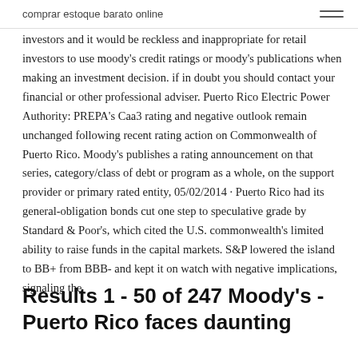comprar estoque barato online
investors and it would be reckless and inappropriate for retail investors to use moody's credit ratings or moody's publications when making an investment decision. if in doubt you should contact your financial or other professional adviser. Puerto Rico Electric Power Authority: PREPA's Caa3 rating and negative outlook remain unchanged following recent rating action on Commonwealth of Puerto Rico. Moody's publishes a rating announcement on that series, category/class of debt or program as a whole, on the support provider or primary rated entity, 05/02/2014 · Puerto Rico had its general-obligation bonds cut one step to speculative grade by Standard & Poor's, which cited the U.S. commonwealth's limited ability to raise funds in the capital markets. S&P lowered the island to BB+ from BBB- and kept it on watch with negative implications, signaling the
Results 1 - 50 of 247 Moody's - Puerto Rico faces daunting